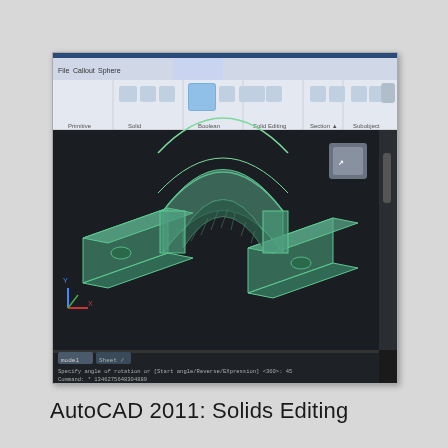[Figure (screenshot): AutoCAD 2011 application screenshot showing a 3D solid model of a U-shaped bracket/pipe clamp with two flat mounting plates on either side, rendered in wireframe/shaded teal-green style on dark background. The top ribbon toolbar is visible with Solid, Boolean, and Solid Editing panels.]
AutoCAD 2011: Solids Editing